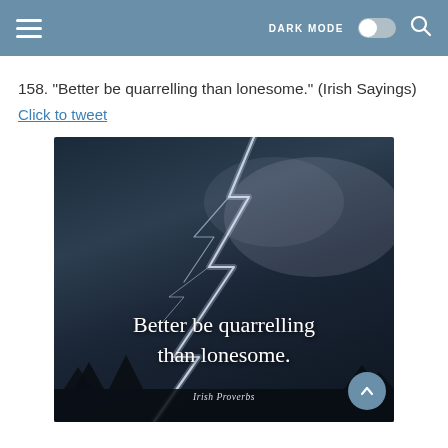DARK MODE [toggle] [search]
158. "Better be quarrelling than lonesome." (Irish Sayings)
Click to tweet
[Figure (photo): Dark stormy sky with lightning bolts with text overlay reading 'Better be quarrelling than lonesome.' and attribution 'Irish Proverbs']